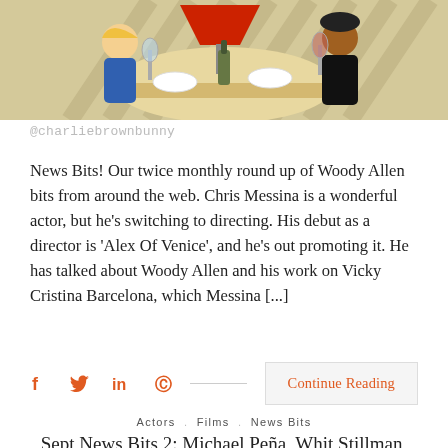[Figure (illustration): Illustration showing cartoon figures at a dining table with a red lamp, plates and wine glasses in a restaurant scene]
@charliebrownbunny
News Bits! Our twice monthly round up of Woody Allen bits from around the web. Chris Messina is a wonderful actor, but he's switching to directing. His debut as a director is 'Alex Of Venice', and he's out promoting it. He has talked about Woody Allen and his work on Vicky Cristina Barcelona, which Messina [...]
[Figure (infographic): Social share icons: Facebook, Twitter, LinkedIn, Pinterest with a Continue Reading button]
Actors . Films . News Bits
Sept News Bits 2: Michael Peña, Whit Stillman, Robots, Nancy Jo Sales, Museums,